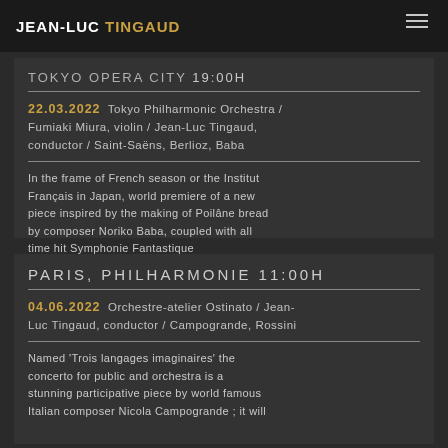JEAN-LUC TINGAUD
TOKYO OPERA CITY 19:00H
22.03.2022 Tokyo Philharmonic Orchestra / Fumiaki Miura, violin / Jean-Luc Tingaud, conductor / Saint-Saëns, Berlioz, Baba
In the frame of French season or the Institut Français in Japan, world premiere of a new piece inspired by the making of Poilâne bread by composer Noriko Baba, coupled with all time hit Symphonie Fantastique
PARIS, PHILHARMONIE 11:00H
04.06.2022 Orchestre-atelier Ostinato / Jean-Luc Tingaud, conductor / Campogrande, Rossini
Named 'Trois langages imaginaires' the concerto for public and orchestra is a stunning participative piece by world famous Italian composer Nicola Campogrande ; it will